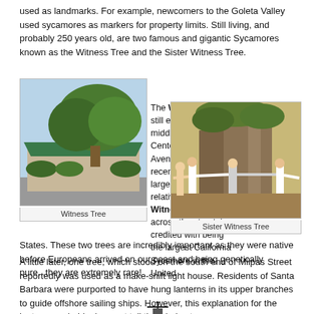used as landmarks. For example, newcomers to the Goleta Valley used sycamores as markers for property limits. Still living, and probably 250 years old, are two famous and gigantic Sycamores known as the Witness Tree and the Sister Witness Tree.
[Figure (photo): Photo of the Witness Tree: a large leafy tree visible above a building with a green awning, parking lot in foreground.]
Witness Tree
The Witness Tree still exists in the middle of the Butler Center on Hollister Avenue... surviving a recent fall of one large limb. Its relative, the Sister Witness Tree, just across the street, is credited with being the largest California Sycamore in the United States. These two trees are incredibly important as they were native before Europeans arrived on our coast and being genetically pure...they are extremely rare!
[Figure (photo): Photo of the Sister Witness Tree: children reaching around the massive trunk of a large Sycamore tree.]
Sister Witness Tree
A little later, one tree, which stood on the south end of Milpas Street reportedly was used as a make-shift light house. Residents of Santa Barbara were purported to have hung lanterns in its upper branches to guide offshore sailing ships. However, this explanation for the lanterns probably does not tell the whole story.
[Figure (illustration): Partial illustration at the bottom of the page showing a dark silhouette figure with a ship or lighthouse motif.]